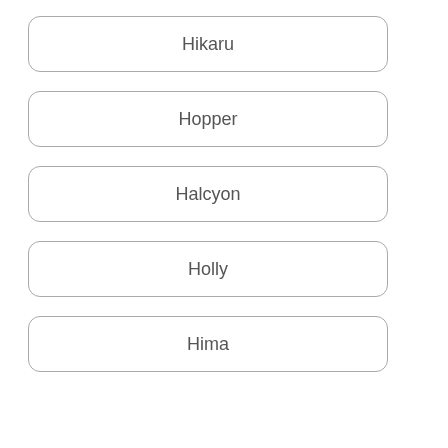Hikaru
Hopper
Halcyon
Holly
Hima